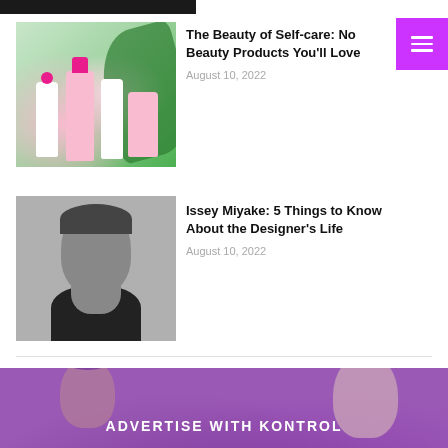[Figure (photo): Partial black image strip at top left — cropped top of a person or background]
[Figure (other): Purple hamburger menu button in top right corner with three white horizontal lines]
[Figure (photo): Pink and white beauty/skincare product bottles arranged on green tropical leaf background]
The Beauty of Self-care: No Beauty Products You'll Love
August 10, 2022
[Figure (photo): Black and white portrait photo of Issey Miyake, an Asian man looking to the side]
Issey Miyake: 5 Things to Know About the Designer's Life
August 10, 2022
[Figure (photo): Purple/violet toned banner image showing two people's faces (a couple) with text overlay reading ADVERTISE WITH KONTROL]